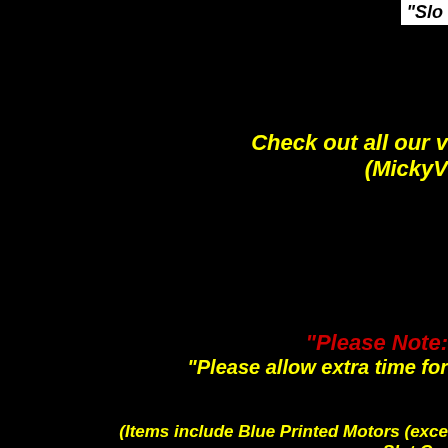"Slo
Check out all our v
(MickyV
"Please Note:
"Please allow extra time for
(Items include Blue Printed Motors (exce
Slot Car
Please en
Remember, Mick A's Racing St
Please Note: This v
We have most of our items in stock. So
Our
Slot Car Cit
"Celebrating 28 ye